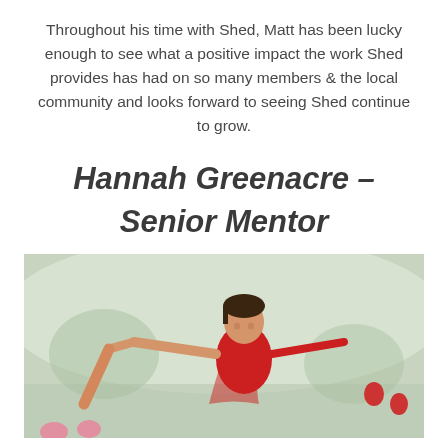Throughout his time with Shed, Matt has been lucky enough to see what a positive impact the work Shed provides has had on so many members & the local community and looks forward to seeing Shed continue to grow.
Hannah Greenacre – Senior Mentor
[Figure (photo): A smiling young girl in a red outfit being lifted up with arms outstretched, with other people's hands raised around her in an outdoor park setting.]